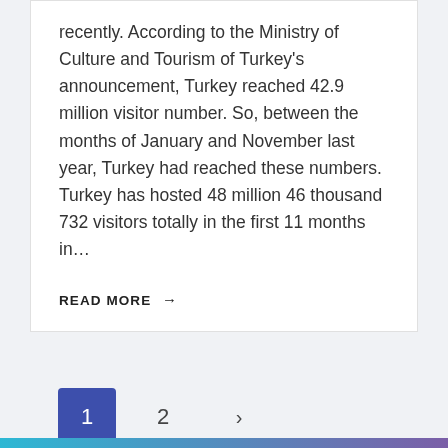recently. According to the Ministry of Culture and Tourism of Turkey's announcement, Turkey reached 42.9 million visitor number. So, between the months of January and November last year, Turkey had reached these numbers. Turkey has hosted 48 million 46 thousand 732 visitors totally in the first 11 months in…
READ MORE →
1  2  >